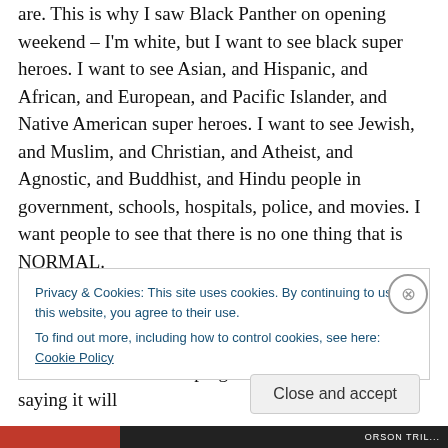are. This is why I saw Black Panther on opening weekend – I'm white, but I want to see black super heroes. I want to see Asian, and Hispanic, and African, and European, and Pacific Islander, and Native American super heroes. I want to see Jewish, and Muslim, and Christian, and Atheist, and Agnostic, and Buddhist, and Hindu people in government, schools, hospitals, police, and movies. I want people to see that there is no one thing that is NORMAL.

There are still ways I don't see how I skew things to fit myself. I feel embarrassed and stupid when I see how I contribute to keeping the status quo. I'm not saying it will
Privacy & Cookies: This site uses cookies. By continuing to use this website, you agree to their use.
To find out more, including how to control cookies, see here: Cookie Policy
Close and accept